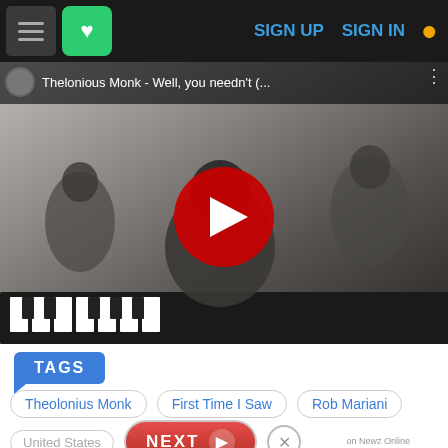SIGN UP  SIGN IN
[Figure (screenshot): YouTube video thumbnail showing Thelonious Monk - Well, you needn't (... with a black and white video still of a jazz musician at a piano and a red play button in the center]
TAGS
Theolonius Monk   First Time I Saw   Rob Mariani
United States
NEXT
on Newz Online